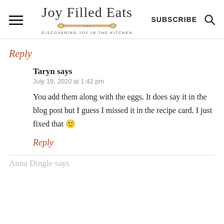Joy Filled Eats — DISCOVERING JOY IN THE KITCHEN
Reply
Taryn says
July 19, 2020 at 1:42 pm
You add them along with the eggs. It does say it in the blog post but I guess I missed it in the recipe card. I just fixed that 🙂
Reply
Anna Dingle says